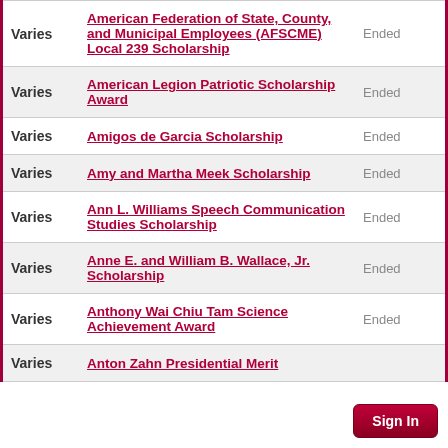| Amount | Scholarship Name | Status |
| --- | --- | --- |
| Varies | American Federation of State, County, and Municipal Employees (AFSCME) Local 239 Scholarship | Ended |
| Varies | American Legion Patriotic Scholarship Award | Ended |
| Varies | Amigos de Garcia Scholarship | Ended |
| Varies | Amy and Martha Meek Scholarship | Ended |
| Varies | Ann L. Williams Speech Communication Studies Scholarship | Ended |
| Varies | Anne E. and William B. Wallace, Jr. Scholarship | Ended |
| Varies | Anthony Wai Chiu Tam Science Achievement Award | Ended |
| Varies | Anton Zahn Presidential Merit | Ended |